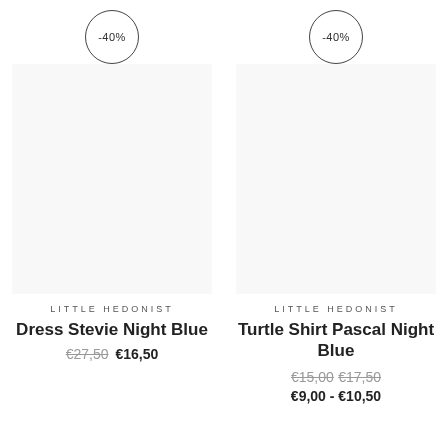[Figure (other): Product listing card with -40% discount badge and empty product image area for Little Hedonist Dress Stevie Night Blue]
LITTLE HEDONIST
Dress Stevie Night Blue
€27,50  €16,50
[Figure (other): Product listing card with -40% discount badge and empty product image area for Little Hedonist Turtle Shirt Pascal Night Blue]
LITTLE HEDONIST
Turtle Shirt Pascal Night Blue
€15,00  €17,50  €9,00 - €10,50